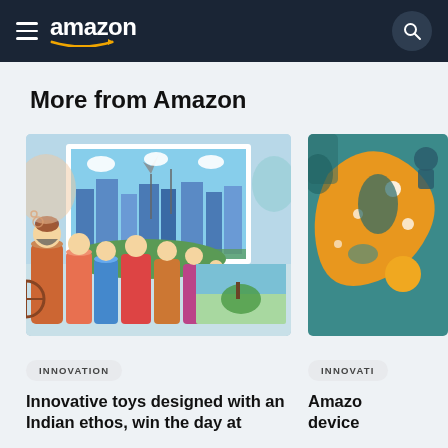amazon
More from Amazon
[Figure (photo): Colorful Indian art toys and craft illustrations showing traditional characters on cylindrical containers, with a cityscape artwork in the background.]
INNOVATION
Innovative toys designed with an Indian ethos, win the day at
[Figure (illustration): Colorful abstract map illustration with teal background and orange/yellow swirling shapes.]
INNOVATI
Amazon device